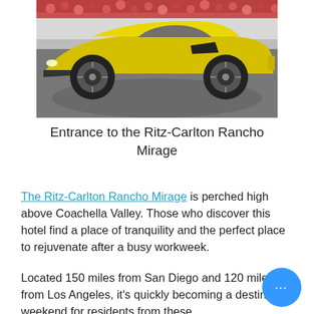[Figure (photo): Yellow sports car (McLaren-style) photographed at the entrance of Ritz-Carlton Rancho Mirage, with red flowers in background and paved driveway.]
Entrance to the Ritz-Carlton Rancho Mirage
The Ritz-Carlton Rancho Mirage is perched high above Coachella Valley. Those who discover this hotel find a place of tranquility and the perfect place to rejuvenate after a busy workweek.
Located 150 miles from San Diego and 120 miles from Los Angeles, it's quickly becoming a destination weekend for residents from these